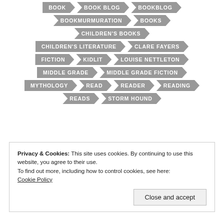BOOK
BOOK BLOG
BOOKBLOG
BOOKMURMURATION
BOOKS
CHILDREN'S BOOKS
CHILDREN'S LITERATURE
CLARE FAYERS
FICTION
KIDLIT
LOUISE NETTLETON
MIDDLE GRADE
MIDDLE GRADE FICTION
MYTHOLOGY
READ
READER
READING
READS
STORM HOUND
Privacy & Cookies: This site uses cookies. By continuing to use this website, you agree to their use.
To find out more, including how to control cookies, see here:
Cookie Policy
Close and accept